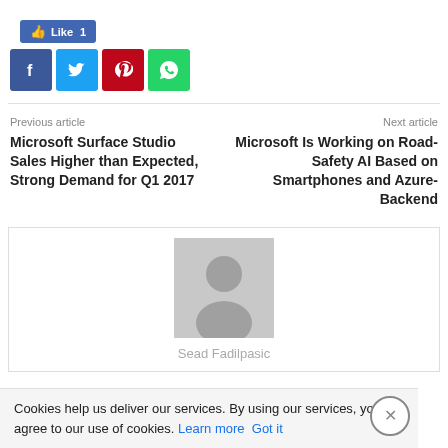[Figure (screenshot): Facebook Like button showing count of 1]
[Figure (screenshot): Social share buttons: Facebook (blue), Twitter (cyan), Pinterest (red), WhatsApp (green)]
Previous article
Next article
Microsoft Surface Studio Sales Higher than Expected, Strong Demand for Q1 2017
Microsoft Is Working on Road-Safety AI Based on Smartphones and Azure-Backend
[Figure (photo): Author avatar placeholder - grey square with person silhouette icon]
Sead Fadilpasic
Cookies help us deliver our services. By using our services, you agree to our use of cookies. Learn more  Got it